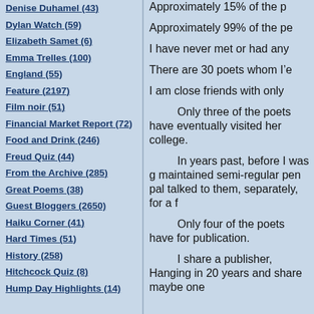Denise Duhamel (43)
Dylan Watch (59)
Elizabeth Samet (6)
Emma Trelles (100)
England (55)
Feature (2197)
Film noir (51)
Financial Market Report (72)
Food and Drink (246)
Freud Quiz (44)
From the Archive (285)
Great Poems (38)
Guest Bloggers (2650)
Haiku Corner (41)
Hard Times (51)
History (258)
Hitchcock Quiz (8)
Hump Day Highlights (14)
Approximately 15% of the p
Approximately 99% of the pe
I have never met or had any
There are 30 poets whom I’e
I am close friends with only
Only three of the poets have eventually visited her college.
In years past, before I was g maintained semi-regular pen pal talked to them, separately, for a f
Only four of the poets have for publication.
I share a publisher, Hanging in 20 years and share maybe one